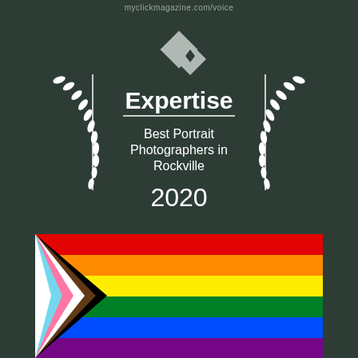myclickmagazine.com/voice
[Figure (logo): Expertise award badge: linked diamond chain logo above the word 'Expertise', a horizontal divider line, text 'Best Portrait Photographers in Rockville', and '2020', all surrounded by a laurel wreath on a dark green background]
[Figure (illustration): Progress Pride Flag with chevron stripes on left (light blue, pink, white, brown, black) and horizontal rainbow stripes (red, orange, yellow, green, blue)]